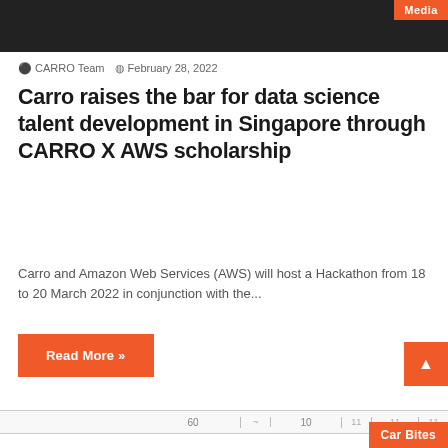[Figure (photo): Dark hero image banner with orange Media badge in top-right corner]
CARRO Team  February 28, 2022
Carro raises the bar for data science talent development in Singapore through CARRO X AWS scholarship
Carro and Amazon Web Services (AWS) will host a Hackathon from 18 to 20 March 2022 in conjunction with the...
Read More »
[Figure (screenshot): Partial horizontal strip/table visible at bottom of article section]
Car Bites